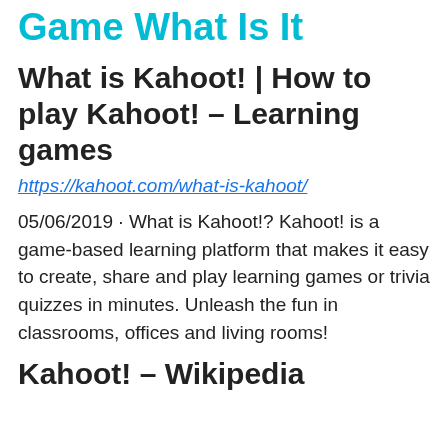Game What Is It
What is Kahoot! | How to play Kahoot! – Learning games
https://kahoot.com/what-is-kahoot/
05/06/2019 · What is Kahoot!? Kahoot! is a game-based learning platform that makes it easy to create, share and play learning games or trivia quizzes in minutes. Unleash the fun in classrooms, offices and living rooms!
Kahoot! – Wikipedia